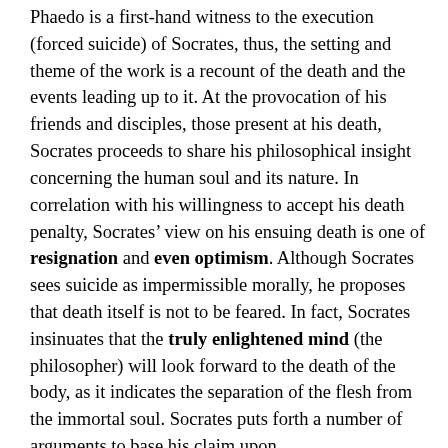Phaedo is a first-hand witness to the execution (forced suicide) of Socrates, thus, the setting and theme of the work is a recount of the death and the events leading up to it. At the provocation of his friends and disciples, those present at his death, Socrates proceeds to share his philosophical insight concerning the human soul and its nature. In correlation with his willingness to accept his death penalty, Socrates' view on his ensuing death is one of resignation and even optimism. Although Socrates sees suicide as impermissible morally, he proposes that death itself is not to be feared. In fact, Socrates insinuates that the truly enlightened mind (the philosopher) will look forward to the death of the body, as it indicates the separation of the flesh from the immortal soul. Socrates puts forth a number of arguments to base his claim upon.
The first of these arguments asserts that all things originate